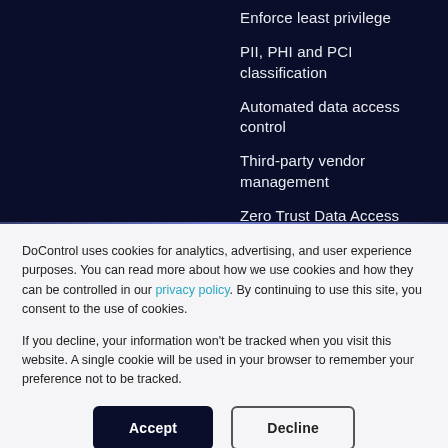Enforce least privilege
PII, PHI and PCI classification
Automated data access control
Third-party vendor management
Zero Trust Data Access
DoControl uses cookies for analytics, advertising, and user experience purposes. You can read more about how we use cookies and how they can be controlled in our privacy policy. By continuing to use this site, you consent to the use of cookies.
If you decline, your information won't be tracked when you visit this website. A single cookie will be used in your browser to remember your preference not to be tracked.